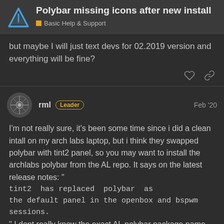Polybar missing icons after new install
Basic Help & Support
but maybe I will just text devs for 02.2019 version and everything will be fine?
rml  Leader  Feb '20
I'm not really sure, it's been some time since i did a clean intall on my arch labs laptop, but i think they swapped polybar with tint2 panel, so you may want to install the archlabs polybar from the AL repo. It says on the latest release notes: "tint2  has replaced  polybar  as the default panel in the openbox and bspwm sessions." I dont really know the exact AL polybar package name but it should be on our repos. Maybe that's why there's nothing on your /etc/skel directory.
But back to the module, 21 is the number of updates, so